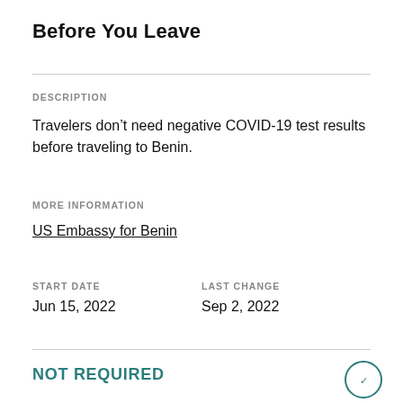Before You Leave
DESCRIPTION
Travelers don’t need negative COVID-19 test results before traveling to Benin.
MORE INFORMATION
US Embassy for Benin
START DATE
Jun 15, 2022
LAST CHANGE
Sep 2, 2022
NOT REQUIRED